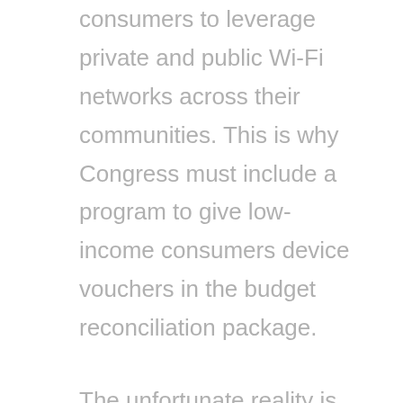consumers to leverage private and public Wi-Fi networks across their communities. This is why Congress must include a program to give low-income consumers device vouchers in the budget reconciliation package.
The unfortunate reality is that most low-income consumers, including many senior citizens, students, and workers, can't afford to spend hundreds of dollars for a computer or tablet. Thirty-one percent of non-broadband users cite the cost of a computer as one of the